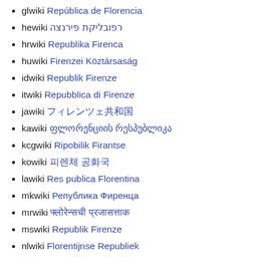glwiki República de Florencia
hewiki רפובליקת פירנצה
hrwiki Republika Firenca
huwiki Firenzei Köztársaság
idwiki Republik Firenze
itwiki Repubblica di Firenze
jawiki フィレンツェ共和国
kawiki ფლორენციის რესპუბლიკა
kcgwiki Ripobilik Firantse
kowiki 피렌체 공화국
lawiki Res publica Florentina
mkwiki Република Фиренца
mrwiki फ्लोरेन्सची प्रजासत्ताक
mswiki Republik Firenze
nlwiki Florentijnse Republiek